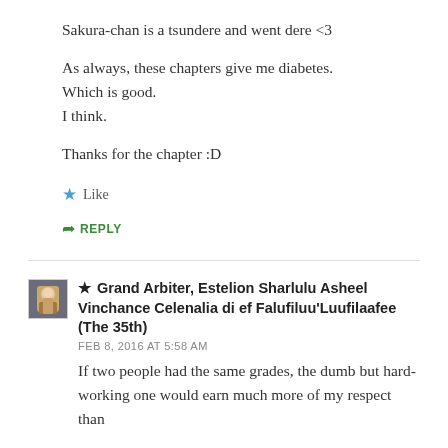Sakura-chan is a tsundere and went dere <3

As always, these chapters give me diabetes.
Which is good.
I think.

Thanks for the chapter :D
★ Like
➦ REPLY
★ Grand Arbiter, Estelion Sharlulu Asheel Vinchance Celenalia di ef Falufiluu'Luufilaafee (The 35th)
FEB 8, 2016 AT 5:58 AM
If two people had the same grades, the dumb but hard-working one would earn much more of my respect than